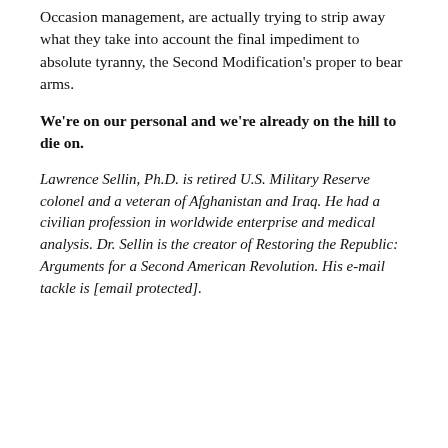Occasion management, are actually trying to strip away what they take into account the final impediment to absolute tyranny, the Second Modification's proper to bear arms.
We're on our personal and we're already on the hill to die on.
Lawrence Sellin, Ph.D. is retired U.S. Military Reserve colonel and a veteran of Afghanistan and Iraq. He had a civilian profession in worldwide enterprise and medical analysis. Dr. Sellin is the creator of Restoring the Republic: Arguments for a Second American Revolution. His e-mail tackle is [email protected].